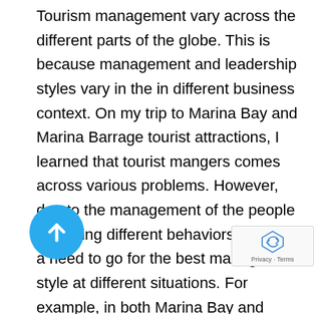Tourism management vary across the different parts of the globe. This is because management and leadership styles vary in the in different business context. On my trip to Marina Bay and Marina Barrage tourist attractions, I learned that tourist mangers comes across various problems. However, due to the management of the people exhibiting different behaviors, there is a need to go for the best management style at different situations. For example, in both Marina Bay and Marina Barrage tourism destinations I realized that the sites receives both domestic and foreign tourist. Therefore, the way the manger deals with the Singaporeans is not the same way he or she will deal with the international tourists. Apart from the customers the international operations of the tourism sites can also be a challenge to the managers. For example, on my visit to Marina Bay Garden I noticed the government of Singapore has incurring a lot money in order to maintain the beauty of